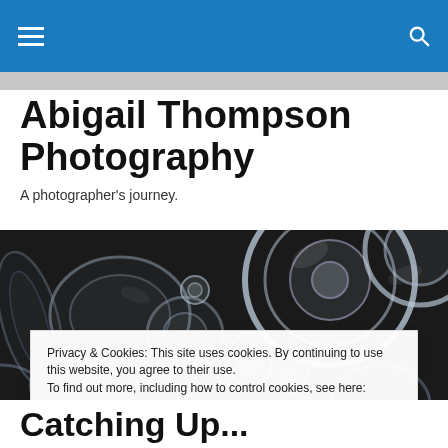Navigation bar with hamburger menu and search icon
Abigail Thompson Photography
A photographer's journey.
[Figure (photo): Close-up photograph of various clear glass bottles and containers arranged together, viewed from above, with dark background]
Privacy & Cookies: This site uses cookies. By continuing to use this website, you agree to their use.
To find out more, including how to control cookies, see here: Cookie Policy
Catching Up...